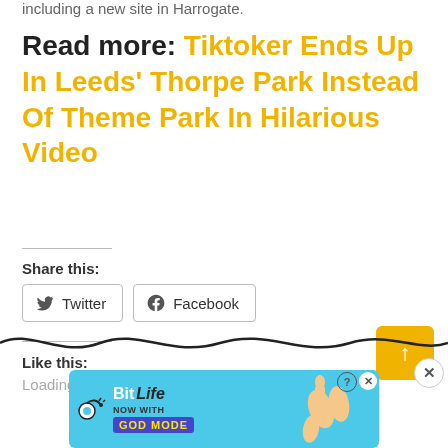including a new site in Harrogate.
Read more: Tiktoker Ends Up In Leeds' Thorpe Park Instead Of Theme Park In Hilarious Video
Share this:
Twitter
Facebook
Like this:
Loading...
[Figure (screenshot): BitLife advertisement banner with GOD MODE text, hand illustration, help and close buttons on cyan background]